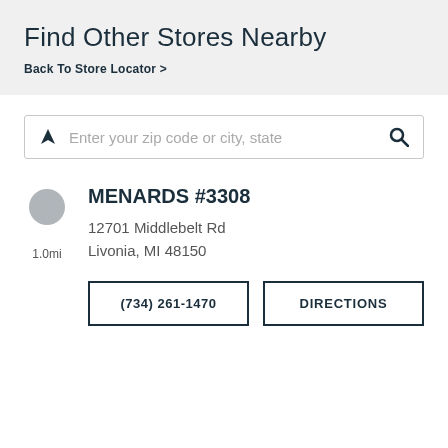Find Other Stores Nearby
Back To Store Locator >
Enter your zip code or city, state
MENARDS #3308
12701 Middlebelt Rd
Livonia, MI 48150
1.0mi
(734) 261-1470
DIRECTIONS